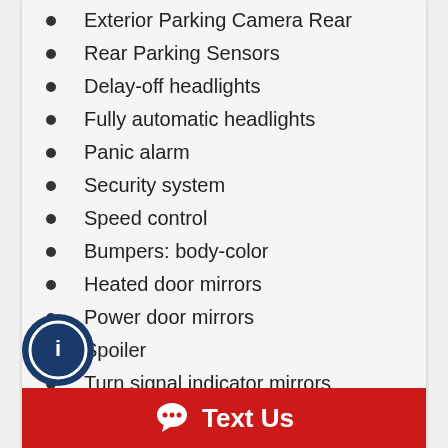Exterior Parking Camera Rear
Rear Parking Sensors
Delay-off headlights
Fully automatic headlights
Panic alarm
Security system
Speed control
Bumpers: body-color
Heated door mirrors
Power door mirrors
Spoiler
Turn signal indicator mirrors
Auto-dimming Rear-View mirror
Compass
Driver door bin
Driver vanity mirror
Front reading lights
Text Us